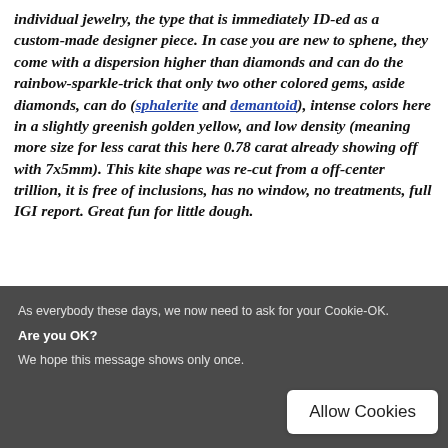individual jewelry, the type that is immediately ID-ed as a custom-made designer piece. In case you are new to sphene, they come with a dispersion higher than diamonds and can do the rainbow-sparkle-trick that only two other colored gems, aside diamonds, can do (sphalerite and demantoid), intense colors here in a slightly greenish golden yellow, and low density (meaning more size for less carat this here 0.78 carat already showing off with 7x5mm). This kite shape was re-cut from a off-center trillion, it is free of inclusions, has no window, no treatments, full IGI report. Great fun for little dough.
As everybody these days, we now need to ask for your Cookie-OK.
Are you OK?
We hope this message shows only once.